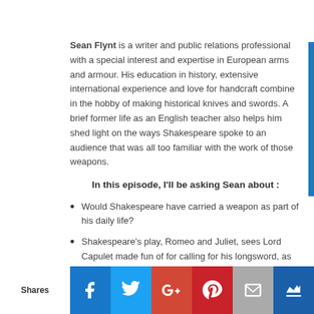Sean Flynt is a writer and public relations professional with a special interest and expertise in European arms and armour. His education in history, extensive international experience and love for handcraft combine in the hobby of making historical knives and swords. A brief former life as an English teacher also helps him shed light on the ways Shakespeare spoke to an audience that was all too familiar with the work of those weapons.
In this episode, I'll be asking Sean about :
Would Shakespeare have carried a weapon as part of his daily life?
Shakespeare's play, Romeo and Juliet, sees Lord Capulet made fun of for calling for his longsword, as